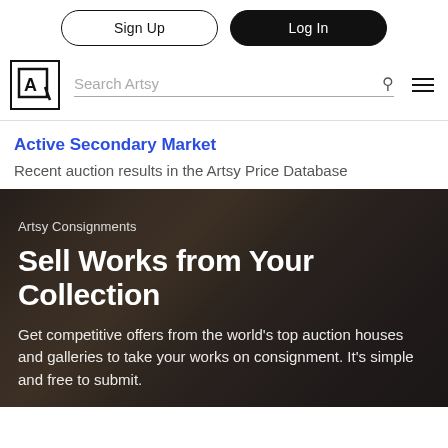Sign Up | Log In
[Figure (logo): Artsy logo — letter A in a square bracket box, with Search Artsy input field, search icon, and hamburger menu]
Active Secondary Market
Recent auction results in the Artsy Price Database
[Figure (photo): Dark blurred background image of gallery space with warm brown tones]
Artsy Consignments
Sell Works from Your Collection
Get competitive offers from the world’s top auction houses and galleries to take your works on consignment. It’s simple and free to submit.